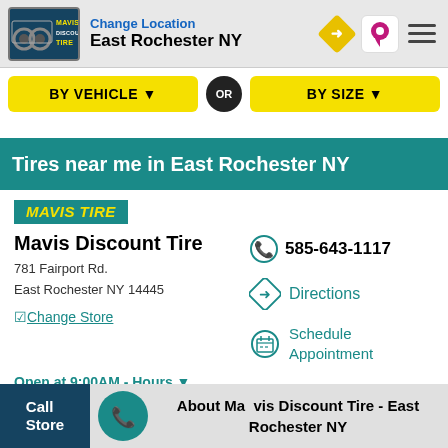Change Location East Rochester NY
BY VEHICLE ▼ OR BY SIZE ▼
Tires near me in East Rochester NY
[Figure (logo): MAVIS TIRE badge in yellow italic text on teal background]
Mavis Discount Tire
781 Fairport Rd.
East Rochester NY 14445
☑Change Store
585-643-1117
Directions
Schedule Appointment
Open at 9:00AM - Hours ▼
Call Store   About Mavis Discount Tire - East Rochester NY